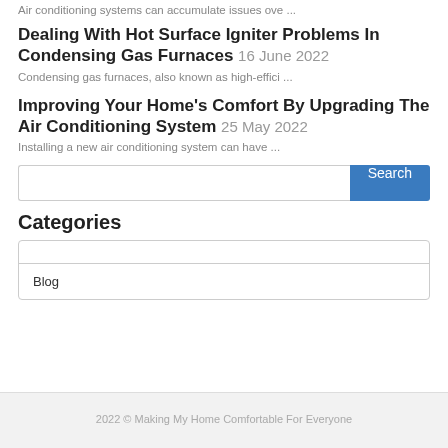Air conditioning systems can accumulate issues ove ...
Dealing With Hot Surface Igniter Problems In Condensing Gas Furnaces 16 June 2022
Condensing gas furnaces, also known as high-effici ...
Improving Your Home's Comfort By Upgrading The Air Conditioning System 25 May 2022
Installing a new air conditioning system can have ...
Categories
Blog
2022 © Making My Home Comfortable For Everyone